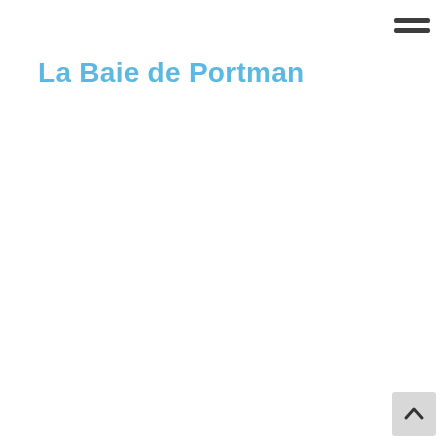≡ (hamburger menu)
La Baie de Portman
[Figure (other): Scroll-to-top button with upward arrow chevron in bottom-right corner]